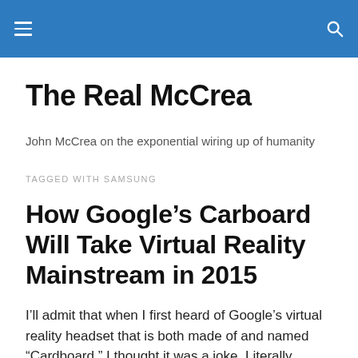The Real McCrea
The Real McCrea
John McCrea on the exponential wiring up of humanity
TAGGED WITH SAMSUNG
How Google’s Carboard Will Take Virtual Reality Mainstream in 2015
I’ll admit that when I first heard of Google’s virtual reality headset that is both made of and named “Cardboard,” I thought it was a joke. Literally.